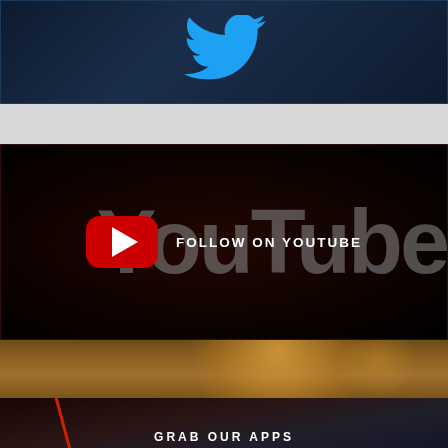[Figure (logo): Twitter bird logo on dark navy background]
[Figure (logo): YouTube logo with FOLLOW ON YOUTUBE text overlay on dark red/black background]
[Figure (photo): Bokeh background with warm orange/gold tones]
[Figure (photo): Dark background with red diagonal line and smartphone, GRAB OUR APPS text]
GRAB OUR APPS